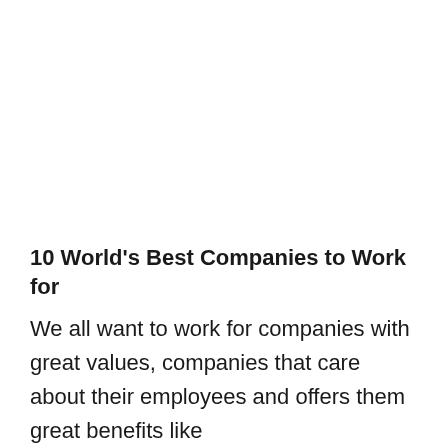10 World's Best Companies to Work for
We all want to work for companies with great values, companies that care about their employees and offers them great benefits like